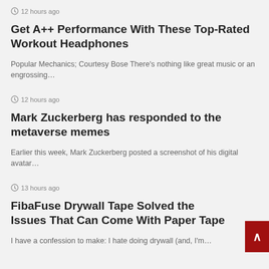12 hours ago
Get A++ Performance With These Top-Rated Workout Headphones
Popular Mechanics; Courtesy Bose There's nothing like great music or an engrossing…
12 hours ago
Mark Zuckerberg has responded to the metaverse memes
Earlier this week, Mark Zuckerberg posted a screenshot of his digital avatar…
13 hours ago
FibaFuse Drywall Tape Solved the Issues That Can Come With Paper Tape
I have a confession to make: I hate doing drywall (and, I'm…